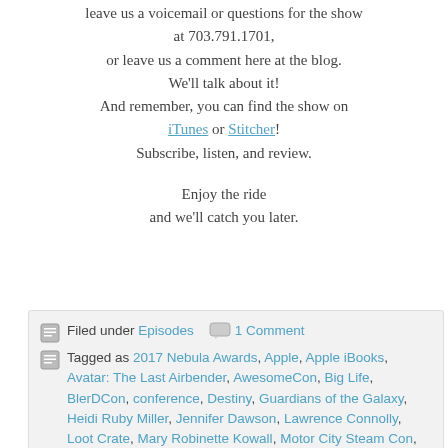leave us a voicemail or questions for the show at 703.791.1701, or leave us a comment here at the blog. We'll talk about it! And remember, you can find the show on iTunes or Stitcher! Subscribe, listen, and review.
Enjoy the ride and we'll catch you later.
Filed under Episodes  1 Comment
Tagged as 2017 Nebula Awards, Apple, Apple iBooks, Avatar: The Last Airbender, AwesomeCon, Big Life, BlerDCon, conference, Destiny, Guardians of the Galaxy, Heidi Ruby Miller, Jennifer Dawson, Lawrence Connolly, Loot Crate, Mary Robinette Kowall, Motor City Steam Con, My...